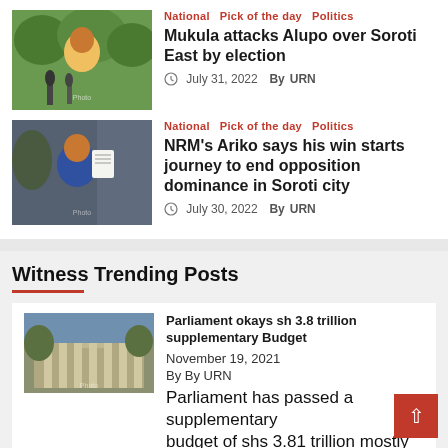[Figure (photo): Man in yellow shirt at press conference with microphones]
National  Pick of the day  Politics
Mukula attacks Alupo over Soroti East by election
July 31, 2022  By URN
[Figure (photo): Man in blue suit holding document]
National  Pick of the day  Politics
NRM's Ariko says his win starts journey to end opposition dominance in Soroti city
July 30, 2022  By URN
Witness Trending Posts
[Figure (photo): Parliament building exterior]
Parliament okays sh 3.8 trillion supplementary Budget
November 19, 2021
By By URN
Parliament has passed a supplementary budget of shs 3.81 trillion mostly for